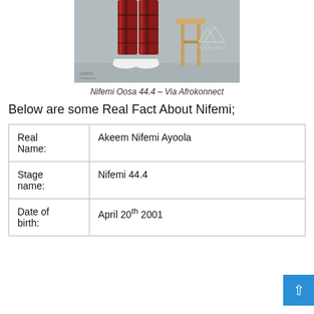[Figure (photo): Photo of Nifemi Oosa 44.4, showing legs in red plaid pants and white sneakers near a wooden stool, on a grey background. Watermarks: 'DEBBIN Photography' bottom left, 'AFROKONNECT' bottom right with mountain logo.]
Nifemi Oosa 44.4 – Via Afrokonnect
Below are some Real Fact About Nifemi;
| Real Name: | Akeem Nifemi Ayoola |
| Stage name: | Nifemi 44.4 |
| Date of birth: | April 20th 2001 |